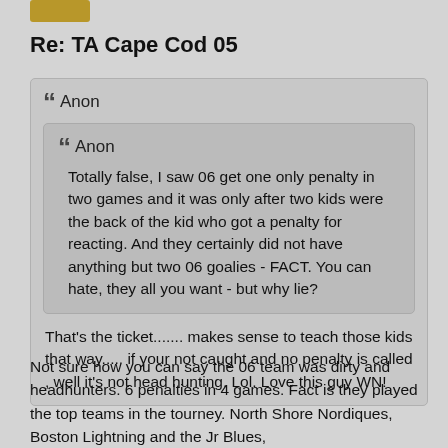[Figure (other): Gold/yellow button or badge at top left]
Re: TA Cape Cod 05
Anon
Anon
Totally false, I saw 06 get one only penalty in two games and it was only after two kids were the back of the kid who got a penalty for reacting. And they certainly did not have anything but two 06 goalies - FACT. You can hate, they all you want - but why lie?
That's the ticket....... makes sense to teach those kids that way..... if your not caught and no penalty is called , well it's not head hunting. Lol. Love this guy WN!
Not sure how you can say the 06 team was dirty and headhunters. 6 penalties in 4 games. Fact is they played the top teams in the tourney. North Shore Nordiques, Boston Lightning and the Jr Blues,